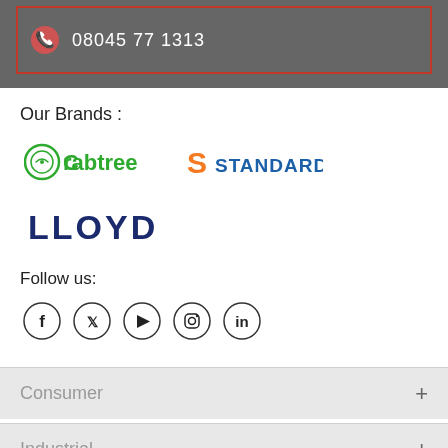[Figure (other): Dark gray header bar with red-bordered box containing a phone icon and number 08045 77 1313]
Our Brands :
[Figure (logo): Crabtree logo in green with circular icon]
[Figure (logo): Standard logo with orange S and blue STANDARD text]
[Figure (logo): LLOYD logo in dark navy blue text]
Follow us:
[Figure (other): Social media icons in circles: Facebook, Twitter, YouTube, Instagram, LinkedIn]
Consumer
Industrial